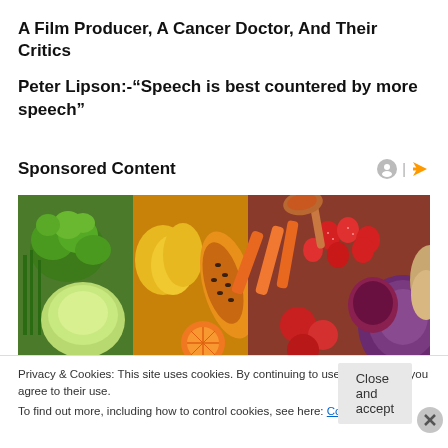A Film Producer, A Cancer Doctor, And Their Critics
Peter Lipson:-“Speech is best countered by more speech”
Sponsored Content
[Figure (photo): Colorful assortment of fresh fruits and vegetables including broccoli, yellow peppers, papaya, carrots, strawberries, red cabbage, and other produce arranged together.]
Privacy & Cookies: This site uses cookies. By continuing to use this website, you agree to their use.
To find out more, including how to control cookies, see here: Cookie Policy
Close and accept